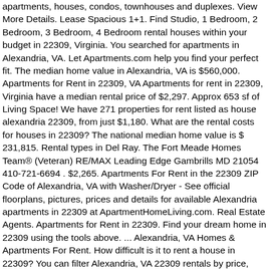apartments, houses, condos, townhouses and duplexes. View More Details. Lease Spacious 1+1. Find Studio, 1 Bedroom, 2 Bedroom, 3 Bedroom, 4 Bedroom rental houses within your budget in 22309, Virginia. You searched for apartments in Alexandria, VA. Let Apartments.com help you find your perfect fit. The median home value in Alexandria, VA is $560,000. Apartments for Rent in 22309, VA Apartments for rent in 22309, Virginia have a median rental price of $2,297. Approx 653 sf of Living Space! We have 271 properties for rent listed as house alexandria 22309, from just $1,180. What are the rental costs for houses in 22309? The national median home value is $ 231,815. Rental types in Del Ray. The Fort Meade Homes Team® (Veteran) RE/MAX Leading Edge Gambrills MD 21054 410-721-6694 . $2,265. Apartments For Rent in the 22309 ZIP Code of Alexandria, VA with Washer/Dryer - See official floorplans, pictures, prices and details for available Alexandria apartments in 22309 at ApartmentHomeLiving.com. Real Estate Agents. Apartments for Rent in 22309. Find your dream home in 22309 using the tools above. ... Alexandria, VA Homes & Apartments For Rent. How difficult is it to rent a house in 22309? You can filter Alexandria, VA 22309 rentals by price, bedroom size, square footage, property type, restriction and mode. Find Mount Vernon apartments, condos, townhomes, single family homes, and much more on Trulia. Search Filters. See Directory of all Fort Meade NSA Real Estate Agents. Your search for houses for rent in Alexandria has